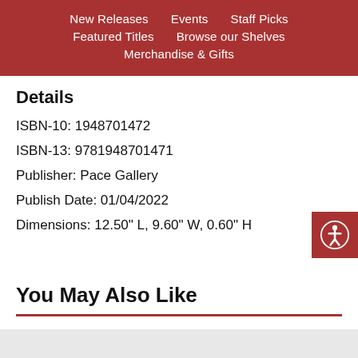New Releases  Events  Staff Picks  Featured Titles  Browse our Shelves  Merchandise & Gifts
Details
ISBN-10: 1948701472
ISBN-13: 9781948701471
Publisher: Pace Gallery
Publish Date: 01/04/2022
Dimensions: 12.50" L, 9.60" W, 0.60" H
You May Also Like